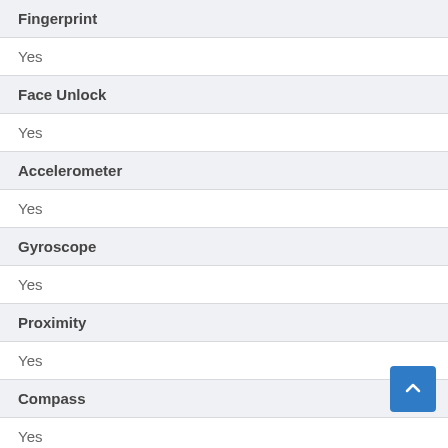| Feature | Value |
| --- | --- |
| Fingerprint | Yes |
| Face Unlock | Yes |
| Accelerometer | Yes |
| Gyroscope | Yes |
| Proximity | Yes |
| Compass | Yes |
| Other Sensors |  |